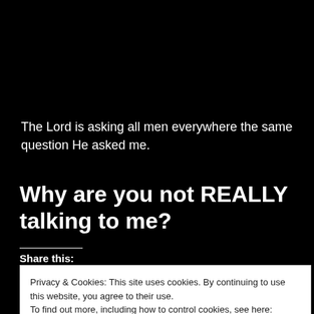The Lord is asking all men everywhere the same question He asked me.
Why are you not REALLY talking to me?
Share this:
Privacy & Cookies: This site uses cookies. By continuing to use this website, you agree to their use. To find out more, including how to control cookies, see here: Cookie Policy
Close and accept
Loading...